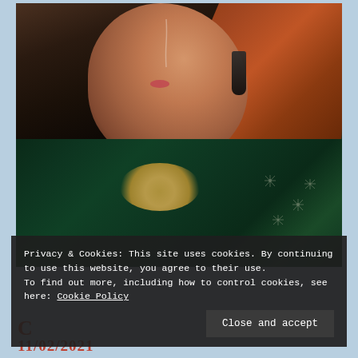[Figure (photo): Fashion/editorial photograph of a woman with auburn/red hair wearing dark statement earrings and a gold pearl cluster necklace over a dark green satin robe or jacket with white snowflake embroidery. She is shot in three-quarter profile against a dark background with dramatic lighting. Only her face, neck, and upper torso are visible.]
Privacy & Cookies: This site uses cookies. By continuing to use this website, you agree to their use.
To find out more, including how to control cookies, see here: Cookie Policy
Close and accept
C
11/02/2021